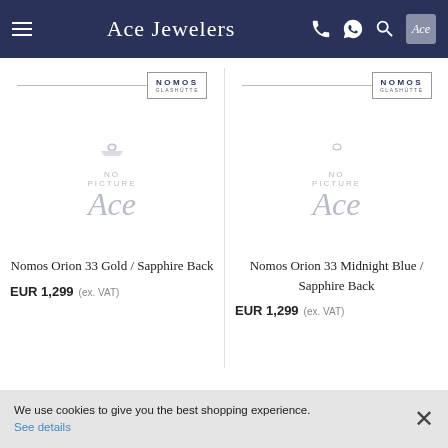Ace Jewelers
[Figure (logo): NOMOS Glashütte logo with horizontal lines on either side — left product column]
[Figure (logo): No Picture Ace placeholder image — left product]
Nomos Orion 33 Gold / Sapphire Back
EUR 1,299 (ex. VAT)
[Figure (logo): NOMOS Glashütte logo with horizontal lines on either side — right product column]
[Figure (logo): No Picture Ace placeholder image — right product]
Nomos Orion 33 Midnight Blue / Sapphire Back
EUR 1,299 (ex. VAT)
We use cookies to give you the best shopping experience. See details